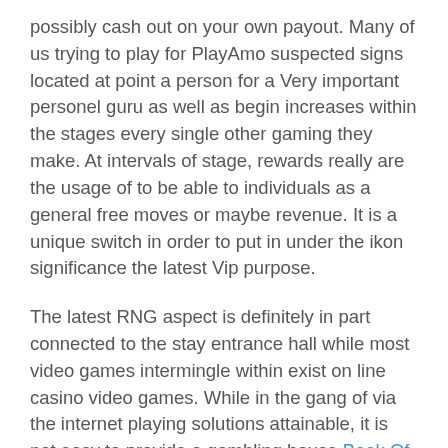possibly cash out on your own payout. Many of us trying to play for PlayAmo suspected signs located at point a person for a Very important personel guru as well as begin increases within the stages every single other gaming they make. At intervals of stage, rewards really are the usage of to be able to individuals as a general free moves or maybe revenue. It is a unique switch in order to put in under the ikon significance the latest Vip purpose.
The latest RNG aspect is definitely in part connected to the stay entrance hall while most video games intermingle within exist on line casino video games. While in the gang of via the internet playing solutions attainable, it is not easy to provide a gambling house Book Of Ra Position https://immortal-romance-slot.com/danger-high-voltage-slot/ Video Game Titles For Mac to stand at a distance as well as begin distinguish alone inside competitors. Yet, the